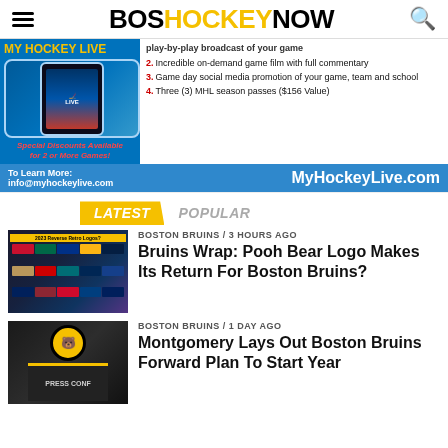BOSHOCKEYNOW
[Figure (infographic): My Hockey Live advertisement banner showing a phone with hockey game, numbered list of features, contact info and website MyHockeyLive.com]
LATEST   POPULAR
BOSTON BRUINS / 3 hours ago
Bruins Wrap: Pooh Bear Logo Makes Its Return For Boston Bruins?
BOSTON BRUINS / 1 day ago
Montgomery Lays Out Boston Bruins Forward Plan To Start Year